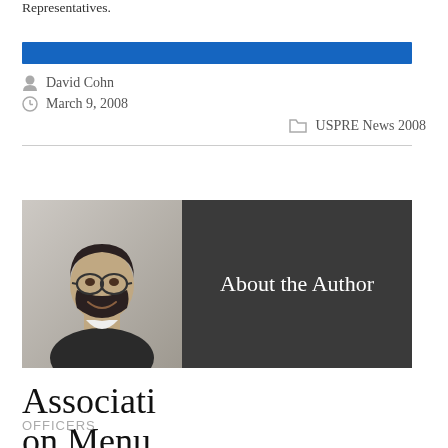Representatives.
David Cohn
March 9, 2008
USPRE News 2008
[Figure (photo): Author banner with photo of a smiling man with glasses and beard on the left, and dark grey background with text 'About the Author' on the right.]
Association Menu
OFFICERS
OUR BY